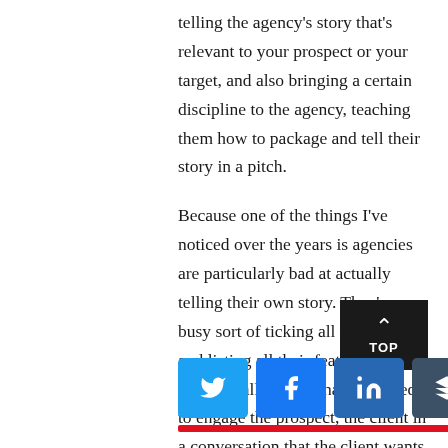telling the agency's story that's relevant to your prospect or your target, and also bringing a certain discipline to the agency, teaching them how to package and tell their story in a pitch.
Because one of the things I've noticed over the years is agencies are particularly bad at actually telling their own story. They're so busy sort of ticking all the boxes and listing all their features that they actually forget that they need to engage the prospect, the client in a conversation that the client wants to be engaged in.
[Figure (other): Dark square button with upward chevron arrow and TOP label]
[Figure (other): Social sharing buttons: Twitter (blue), Facebook (blue), LinkedIn (dark blue), Buffer (dark gray), followed by a red horizontal line]